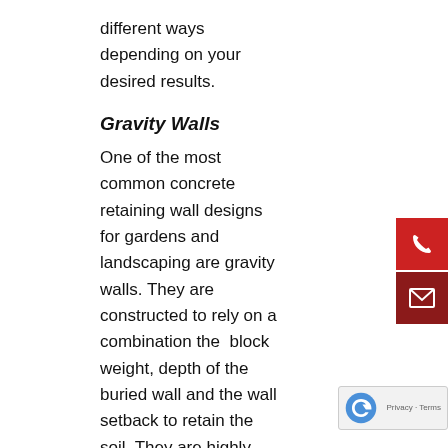different ways depending on your desired results.
Gravity Walls
One of the most common concrete retaining wall designs for gardens and landscaping are gravity walls. They are constructed to rely on a combination the  block weight, depth of the buried wall and the wall setback to retain the soil. They are highly versatile in design, providing a range of aesthetic choices while also being able to be built relatively quickly. They do not require any mortar, rather relying on special lipped units and embedded pins to create stability while providing an easy drainage system. The maximum height for a gravity wall is 1.5m, making it a perfect choice